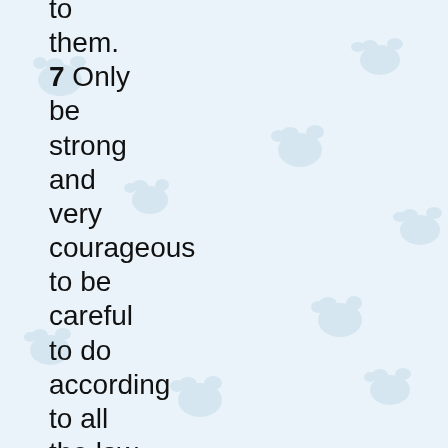to them. 7 Only be strong and very courageous to be careful to do according to all the law that Moses my